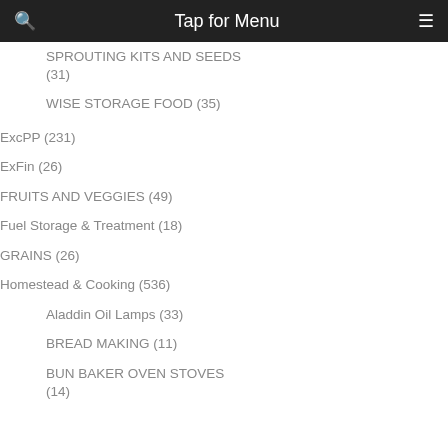Tap for Menu
SPROUTING KITS AND SEEDS (31)
WISE STORAGE FOOD (35)
ExcPP (231)
ExFin (26)
FRUITS AND VEGGIES (49)
Fuel Storage & Treatment (18)
GRAINS (26)
Homestead & Cooking (536)
Aladdin Oil Lamps (33)
BREAD MAKING (11)
BUN BAKER OVEN STOVES (14)